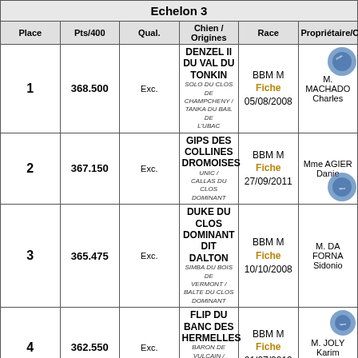| Place | Pts/400 | Qual. | Chien / Origines | Race | Propriétaire/Conducteur |
| --- | --- | --- | --- | --- | --- |
| 1 | 368.500 | Exc. | DENZEL II DU VAL DU TONKIN
SOLO DU CLOS DE CHAMPCHENY / TANKA DU BAIL DE L'UBAC | BBM M
Fiche
05/08/2008 | M. MACHADO Charles |
| 2 | 367.150 | Exc. | GIPS DES COLLINES DROMOISES
UNIC / CALLAS DU CLOS DOMINANT | BBM M
Fiche
27/09/2011 | Mme AGIER Danie |
| 3 | 365.475 | Exc. | DUKE DU CLOS DOMINANT DIT DALTON
SIMBA DU BOIS DE VERMONT / BALTE DU CLOS DOMINANT | BBM M
Fiche
10/10/2008 | M. DA FORNA Sidonio |
| 4 | 362.550 | Exc. | FLIP DU BANC DES HERMELLES
BARON DE VULCAIN / EMERAUDE DU BANC DES HERMELLES | BBM M
Fiche
01/07/2010 | M. JOLY Karim |